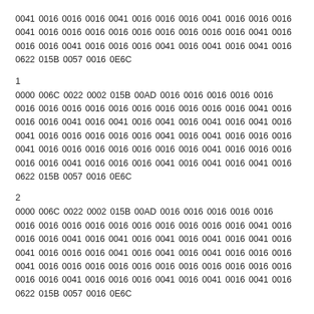0041 0016 0016 0016 0041 0016 0016 0016 0041 0016 0016 0016 0041 0016 0016 0016 0016 0016 0016 0016 0016 0016 0016 0016 0041 0016 0016 0016 0041 0016 0016 0016 0041 0016 0016 0016 0041 0016 0041 0016 0041 0016 0622 015B 0057 0016 0E6C
1
0000 006C 0022 0002 015B 00AD 0016 0016 0016 0016 0016 0016 0016 0016 0016 0016 0016 0016 0016 0016 0016 0041 0016 0016 0016 0041 0016 0041 0016 0041 0016 0041 0016 0041 0016 0041 0016 0016 0016 0016 0016 0041 0016 0041 0016 0016 0016 0041 0016 0016 0016 0016 0016 0016 0016 0041 0016 0016 0016 0016 0016 0041 0016 0016 0016 0041 0016 0041 0016 0041 0016 0622 015B 0057 0016 0E6C
2
0000 006C 0022 0002 015B 00AD 0016 0016 0016 0016 0016 0016 0016 0016 0016 0016 0016 0016 0016 0016 0016 0041 0016 0016 0016 0041 0016 0041 0016 0041 0016 0041 0016 0041 0016 0041 0016 0016 0016 0041 0016 0041 0016 0041 0016 0016 0016 0041 0016 0016 0016 0016 0016 0016 0016 0016 0016 0016 0016 0016 0016 0041 0016 0016 0016 0041 0016 0041 0016 0041 0016 0622 015B 0057 0016 0E6C